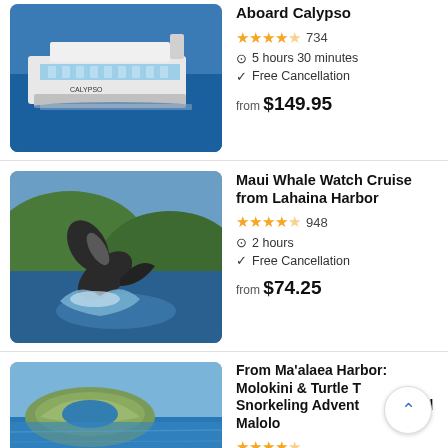[Figure (photo): Aerial photo of the Calypso cruise ship on blue water]
Aboard Calypso
⭐⭐⭐⭐½ 734
🕐 5 hours 30 minutes
✓ Free Cancellation
from $149.95
[Figure (photo): Humpback whale breaching near Lahaina Harbor with green hills in background]
Maui Whale Watch Cruise from Lahaina Harbor
⭐⭐⭐⭐½ 948
🕐 2 hours
✓ Free Cancellation
from $74.25
[Figure (photo): Aerial view of Molokini crater and ocean near Ma'alaea Harbor]
From Ma'alaea Harbor: Molokini & Turtle To Snorkeling Advent Aboard Malolo